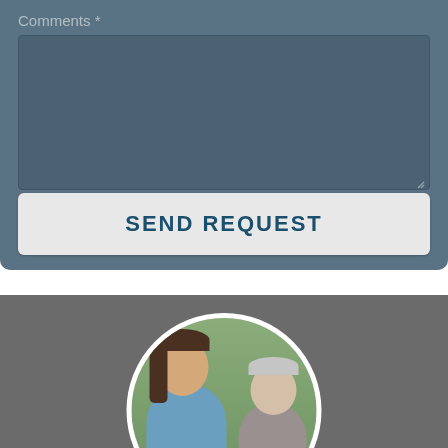Comments *
[Figure (screenshot): Web form textarea field for comments with blue-gray background and resize handle]
SEND REQUEST
[Figure (photo): Circular cropped photo of a young female healthcare worker in blue scrubs alongside an older woman, on a gray background section]